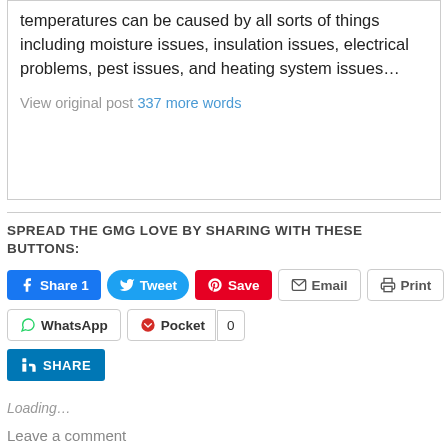temperatures can be caused by all sorts of things including moisture issues, insulation issues, electrical problems, pest issues, and heating system issues…
View original post 337 more words
SPREAD THE GMG LOVE BY SHARING WITH THESE BUTTONS:
[Figure (screenshot): Social sharing buttons row 1: Facebook Share 1, Tweet, Pinterest Save, Email, Print]
[Figure (screenshot): Social sharing buttons row 2: WhatsApp, Pocket with count 0]
[Figure (screenshot): LinkedIn SHARE button]
Loading…
Leave a comment